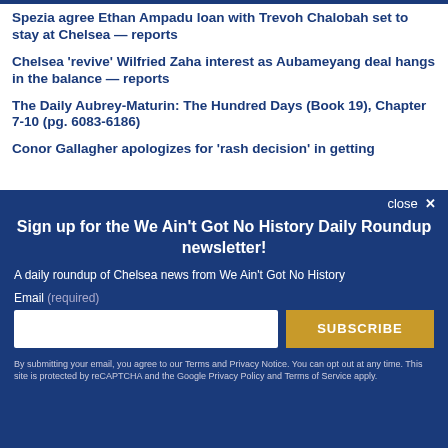Spezia agree Ethan Ampadu loan with Trevoh Chalobah set to stay at Chelsea — reports
Chelsea 'revive' Wilfried Zaha interest as Aubameyang deal hangs in the balance — reports
The Daily Aubrey-Maturin: The Hundred Days (Book 19), Chapter 7-10 (pg. 6083-6186)
Conor Gallagher apologizes for 'rash decision' in getting
close ×
Sign up for the We Ain't Got No History Daily Roundup newsletter!
A daily roundup of Chelsea news from We Ain't Got No History
Email (required)
SUBSCRIBE
By submitting your email, you agree to our Terms and Privacy Notice. You can opt out at any time. This site is protected by reCAPTCHA and the Google Privacy Policy and Terms of Service apply.